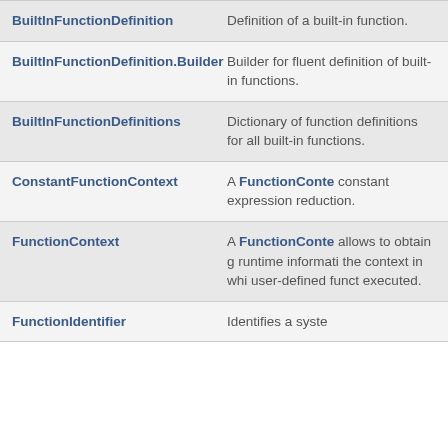| Name | Description |
| --- | --- |
| BuiltInFunctionDefinition | Definition of a built-in function. |
| BuiltInFunctionDefinition.Builder | Builder for fluent definition of built-in functions. |
| BuiltInFunctionDefinitions | Dictionary of function definitions for all built-in functions. |
| ConstantFunctionContext | A FunctionContext for constant expression reduction. |
| FunctionContext | A FunctionContext that allows to obtain general runtime information about the context in which a user-defined function is executed. |
| FunctionIdentifier | Identifies a system... |